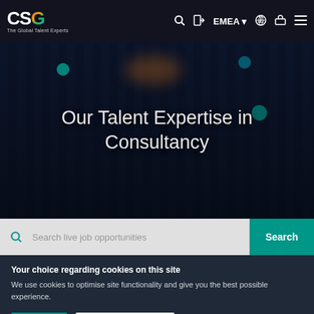CSG The Global Talent Experts – Navigation: Search, Login, EMEA, Upload, Menu
Our Talent Expertise in Consultancy
Search live job opportunities – Search
Your choice regarding cookies on this site
We use cookies to optimise site functionality and give you the best possible experience.
accept  manage preferences